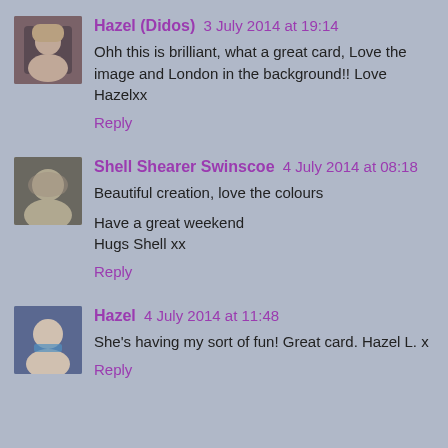Hazel (Didos) 3 July 2014 at 19:14
Ohh this is brilliant, what a great card, Love the image and London in the background!! Love Hazelxx
Reply
Shell Shearer Swinscoe 4 July 2014 at 08:18
Beautiful creation, love the colours
Have a great weekend
Hugs Shell xx
Reply
Hazel 4 July 2014 at 11:48
She's having my sort of fun! Great card. Hazel L. x
Reply